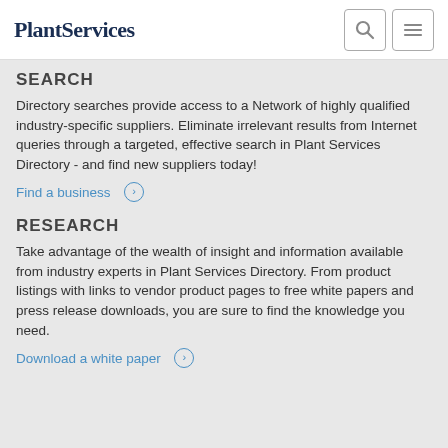Plant Services
SEARCH
Directory searches provide access to a Network of highly qualified industry-specific suppliers. Eliminate irrelevant results from Internet queries through a targeted, effective search in Plant Services Directory - and find new suppliers today!
Find a business ⊙
RESEARCH
Take advantage of the wealth of insight and information available from industry experts in Plant Services Directory. From product listings with links to vendor product pages to free white papers and press release downloads, you are sure to find the knowledge you need.
Download a white paper ⊙